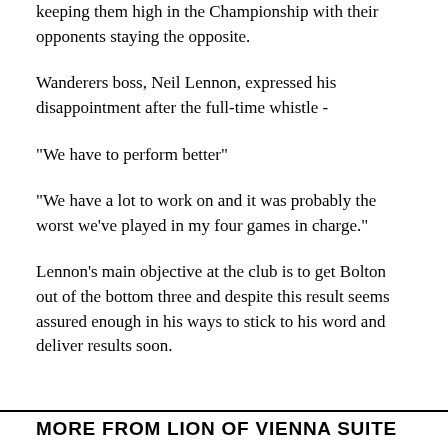keeping them high in the Championship with their opponents staying the opposite.
Wanderers boss, Neil Lennon, expressed his disappointment after the full-time whistle -
"We have to perform better"
"We have a lot to work on and it was probably the worst we've played in my four games in charge."
Lennon's main objective at the club is to get Bolton out of the bottom three and despite this result seems assured enough in his ways to stick to his word and deliver results soon.
MORE FROM LION OF VIENNA SUITE